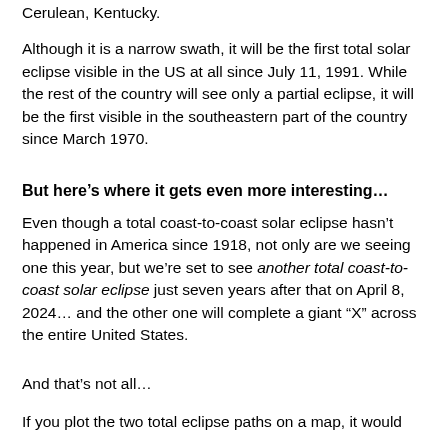Cerulean, Kentucky.
Although it is a narrow swath, it will be the first total solar eclipse visible in the US at all since July 11, 1991. While the rest of the country will see only a partial eclipse, it will be the first visible in the southeastern part of the country since March 1970.
But here’s where it gets even more interesting…
Even though a total coast-to-coast solar eclipse hasn’t happened in America since 1918, not only are we seeing one this year, but we’re set to see another total coast-to-coast solar eclipse just seven years after that on April 8, 2024… and the other one will complete a giant “X” across the entire United States.
And that’s not all…
If you plot the two total eclipse paths on a map, it would